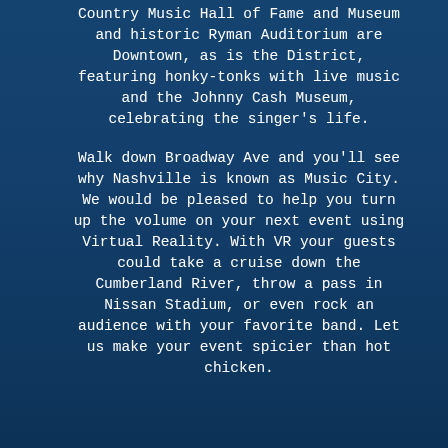Country Music Hall of Fame and Museum and historic Ryman Auditorium are Downtown, as is the District, featuring honky-tonks with live music and the Johnny Cash Museum, celebrating the singer's life.
Walk down Broadway Ave and you'll see why Nashville is known as Music City. We would be pleased to help you turn up the volume on your next event using Virtual Reality. With VR your guests could take a cruise down the Cumberland River, throw a pass in Nissan Stadium, or even rock an audience with your favorite band. Let us make your event spicier than hot chicken.